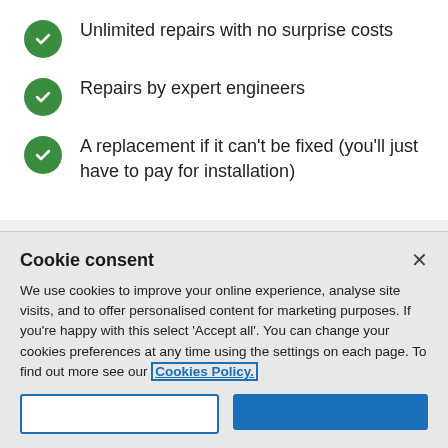Unlimited repairs with no surprise costs
Repairs by expert engineers
A replacement if it can't be fixed (you'll just have to pay for installation)
What make is your oven?
Cookie consent
We use cookies to improve your online experience, analyse site visits, and to offer personalised content for marketing purposes. If you're happy with this select 'Accept all'. You can change your cookies preferences at any time using the settings on each page. To find out more see our Cookies Policy.